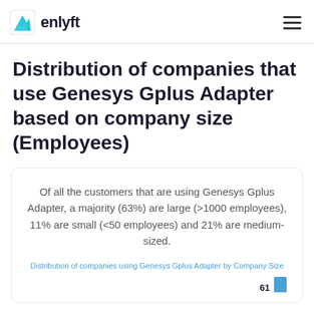enlyft
Distribution of companies that use Genesys Gplus Adapter based on company size (Employees)
Of all the customers that are using Genesys Gplus Adapter, a majority (63%) are large (>1000 employees), 11% are small (<50 employees) and 21% are medium-sized.
Distribution of companies using Genesys Gplus Adapter by Company Size